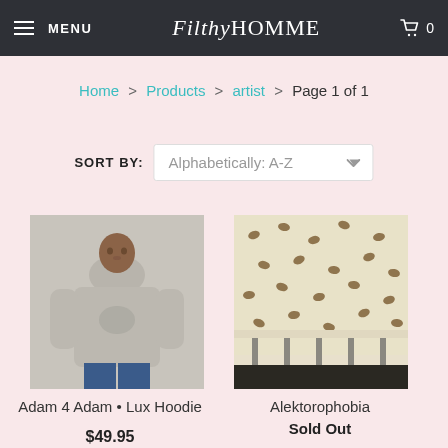MENU  FilthyHOMME  0
Home > Products > artist > Page 1 of 1
SORT BY: Alphabetically: A-Z
[Figure (photo): Man wearing a grey hoodie with graphic print on chest]
Adam 4 Adam • Lux Hoodie
$49.95
[Figure (photo): Room interior with wallpaper featuring bird/animal pattern and table with chairs]
Alektorophobia
Sold Out